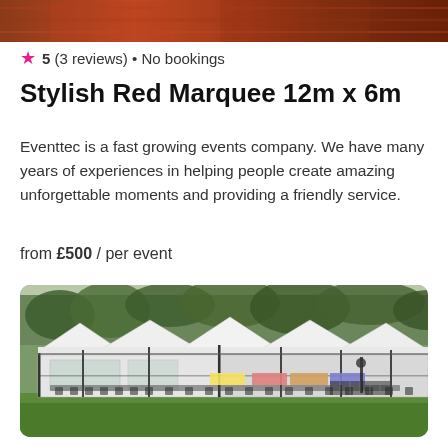[Figure (photo): Partial top image — cropped photo showing food or a decorative red surface at the top of the page]
5 (3 reviews) • No bookings
Stylish Red Marquee 12m x 6m
Eventtec is a fast growing events company. We have many years of experiences in helping people create amazing unforgettable moments and providing a friendly service.
from £500 / per event
[Figure (photo): A large white marquee tent set up on a green lawn with trees in the background. Tables and chairs are visible inside the open marquee.]